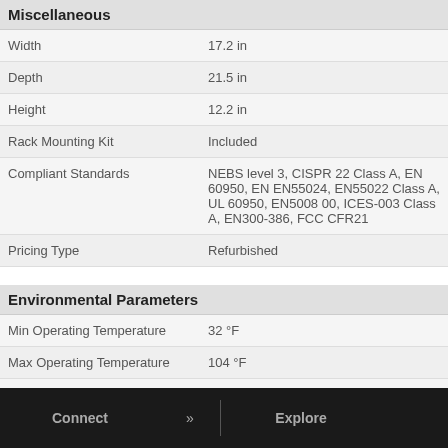Miscellaneous
| Property | Value |
| --- | --- |
| Width | 17.2 in |
| Depth | 21.5 in |
| Height | 12.2 in |
| Rack Mounting Kit | Included |
| Compliant Standards | NEBS level 3, CISPR 22 Class A, EN 60950, EN EN55024, EN55022 Class A, UL 60950, EN5008 00, ICES-003 Class A, EN300-386, FCC CFR21 |
| Pricing Type | Refurbished |
Environmental Parameters
| Property | Value |
| --- | --- |
| Min Operating Temperature | 32 °F |
| Max Operating Temperature | 104 °F |
| Humidity Range Operating | 10 - 85% |
Connect » | Explore